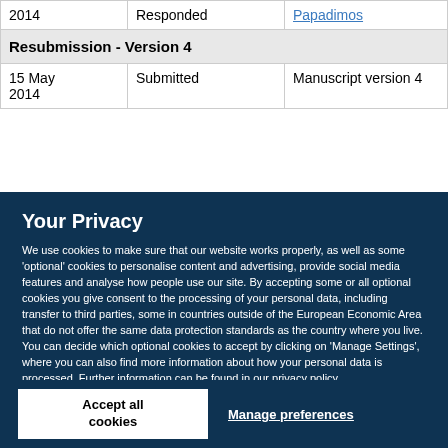| Date | Status | Details |
| --- | --- | --- |
| 2014 | Responded | Papadimos |
| Resubmission - Version 4 |  |  |
| 15 May 2014 | Submitted | Manuscript version 4 |
Your Privacy
We use cookies to make sure that our website works properly, as well as some 'optional' cookies to personalise content and advertising, provide social media features and analyse how people use our site. By accepting some or all optional cookies you give consent to the processing of your personal data, including transfer to third parties, some in countries outside of the European Economic Area that do not offer the same data protection standards as the country where you live. You can decide which optional cookies to accept by clicking on 'Manage Settings', where you can also find more information about how your personal data is processed. Further information can be found in our privacy policy.
Accept all cookies
Manage preferences